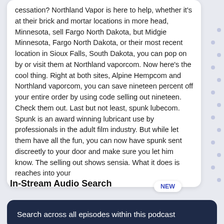cessation? Northland Vapor is here to help, whether it's at their brick and mortar locations in more head, Minnesota, sell Fargo North Dakota, but Midgie Minnesota, Fargo North Dakota, or their most recent location in Sioux Falls, South Dakota, you can pop on by or visit them at Northland vaporcom. Now here's the cool thing. Right at both sites, Alpine Hempcom and Northland vaporcom, you can save nineteen percent off your entire order by using code selling out nineteen. Check them out. Last but not least, spunk lubecom. Spunk is an award winning lubricant use by professionals in the adult film industry. But while let them have all the fun, you can now have spunk sent discreetly to your door and make sure you let him know. The selling out shows sensia. What it does is reaches into your
In-Stream Audio Search
Search across all episodes within this podcast